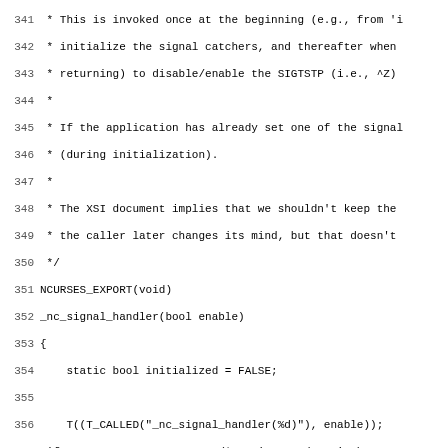Source code listing, lines 341-372, showing C code for _nc_signal_handler function with SIGTSTP handling
[Figure (other): C source code listing with line numbers 341-372 showing ncurses signal handler implementation]